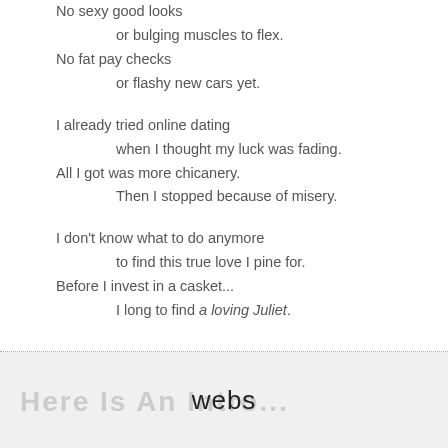No sexy good looks
    or bulging muscles to flex.
No fat pay checks
    or flashy new cars yet.

I already tried online dating
    when I thought my luck was fading.
All I got was more chicanery.
    Then I stopped because of misery.

I don't know what to do anymore
    to find this true love I pine for.
Before I invest in a casket...
    I long to find a loving Juliet.
webs